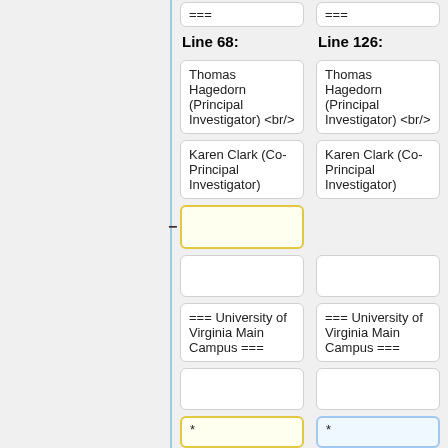===
===
Line 68:
Line 126:
Thomas Hagedorn (Principal Investigator) <br/>
Thomas Hagedorn (Principal Investigator) <br/>
Karen Clark (Co-Principal Investigator)
Karen Clark (Co-Principal Investigator)
-
=== University of Virginia Main Campus ===
=== University of Virginia Main Campus ===
*
*